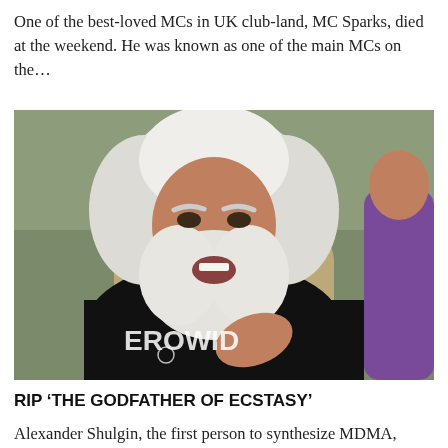One of the best-loved MCs in UK club-land, MC Sparks, died at the weekend. He was known as one of the main MCs on the...
[Figure (photo): Elderly man with long white hair and beard, wearing a black shirt with 'EROWID' text, seated in a chair, speaking, with another person in purple top partially visible on the right.]
RIP ‘THE GODFATHER OF ECSTASY’
Alexander Shulgin, the first person to synthesize MDMA,